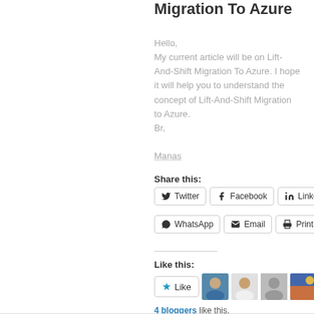Migration To Azure
Hello,
My current article will be on Lift-And-Shift Migration To Azure. I hope it will help you to understand the concept of Lift-And-Shift Migration to Azure.
Br,

Manas
Share this:
Twitter  Facebook  LinkedIn  WhatsApp  Email  Print
Like this:
[Figure (other): Like button and 4 blogger avatars]
4 bloggers like this.